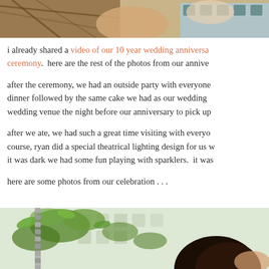[Figure (photo): Top portion of a photo showing outdoor scene, partial view of people's arms and torsos, with woven basket/branches and a building with square windows in background]
i already shared a video of our 10 year wedding anniversary ceremony.  here are the rest of the photos from our annive
after the ceremony, we had an outside party with everyone dinner followed by the same cake we had as our wedding wedding venue the night before our anniversary to pick up
after we ate, we had such a great time visiting with everyo course, ryan did a special theatrical lighting design for us w it was dark we had some fun playing with sparklers.  it was
here are some photos from our celebration . . .
[Figure (photo): Bottom portion of a photo showing green foliage/plants with hanging chain on left side, and a person's dark hair visible on right side, with a lattice/trellis background]